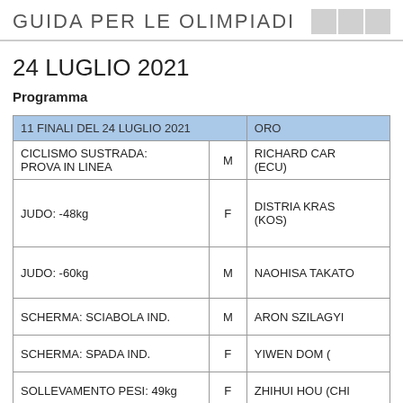GUIDA PER LE OLIMPIADI
24 LUGLIO 2021
Programma
| 11 FINALI DEL 24 LUGLIO 2021 |  | ORO |
| --- | --- | --- |
| CICLISMO SUSTRADA: PROVA IN LINEA | M | RICHARD CAR... (ECU) |
| JUDO: -48kg | F | DISTRIA KRAS... (KOS) |
| JUDO: -60kg | M | NAOHISA TAKATO... |
| SCHERMA: SCIABOLA IND. | M | ARON SZILAGYI |
| SCHERMA: SPADA IND. | F | YIWEN DOM (… |
| SOLLEVAMENTO PESI: 49kg | F | ZHIHUI HOU (CHI… |
|  |  |  |